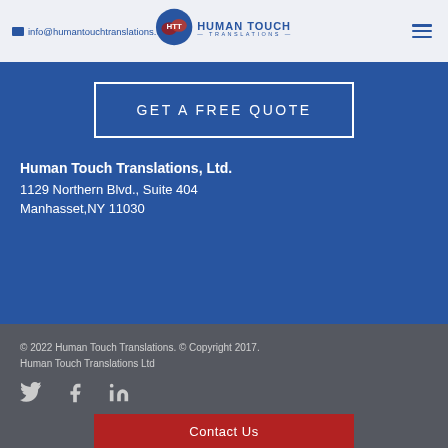info@humantouchtranslations.com
[Figure (logo): Human Touch Translations logo with HTT letters and tagline]
GET A FREE QUOTE
Human Touch Translations, Ltd.
1129 Northern Blvd., Suite 404
Manhasset,NY 11030
© 2022 Human Touch Translations. © Copyright 2017. Human Touch Translations Ltd
[Figure (infographic): Social media icons: Twitter, Facebook, LinkedIn]
Contact Us